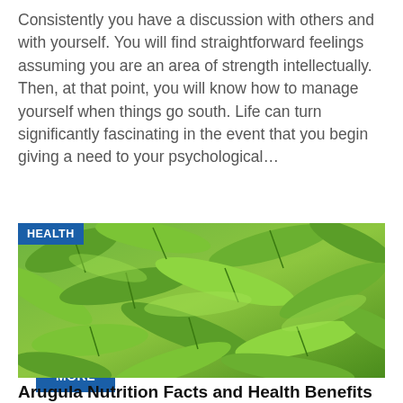Consistently you have a discussion with others and with yourself. You will find straightforward feelings assuming you are an area of strength intellectually. Then, at that point, you will know how to manage yourself when things go south. Life can turn significantly fascinating in the event that you begin giving a need to your psychological…
READ MORE
[Figure (photo): Close-up photo of fresh green arugula leaves with a 'HEALTH' badge overlay in the top-left corner]
Arugula Nutrition Facts and Health Benefits